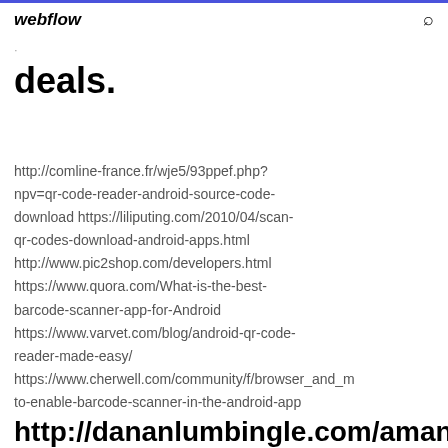webflow
deals.
http://comline-france.fr/wje5/93ppef.php?npv=qr-code-reader-android-source-code-download https://liliputing.com/2010/04/scan-qr-codes-download-android-apps.html http://www.pic2shop.com/developers.html https://www.quora.com/What-is-the-best-barcode-scanner-app-for-Android https://www.varvet.com/blog/android-qr-code-reader-made-easy/ https://www.cherwell.com/community/f/browser_and_... to-enable-barcode-scanner-in-the-android-app
http://dananlumbingle.com/...